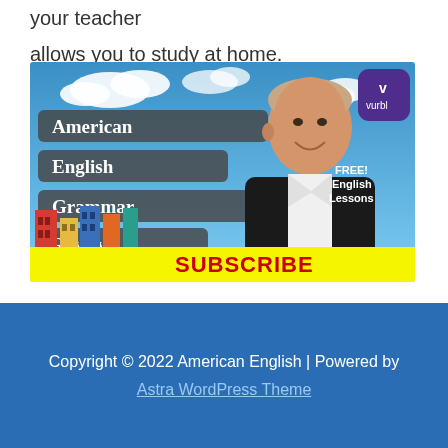your teacher
allows you to study at home.
[Figure (illustration): American English Grammar Review podcast/video promotional banner. Shows a man in a black jacket with white shirt smiling, gray banner text reading 'American English Grammar Review', colorful buildings at bottom left, small cartoon people, vurbl badge top right, 'FREE! English Lessons' text, yellow SUBSCRIBE bar at bottom.]
Copyright © 2022 American English | Powered by Astra WordPress Theme